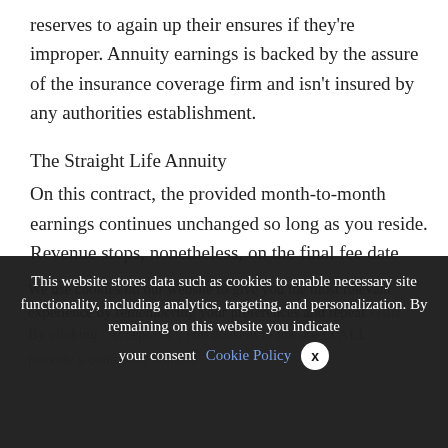reserves to again up their ensures if they're improper. Annuity earnings is backed by the assure of the insurance coverage firm and isn't insured by any authorities establishment.
The Straight Life Annuity
On this contract, the provided month-to-month earnings continues unchanged so long as you reside. Revenue stops, nonetheless, on the final fee date earlier than your loss of life. Conceptually, the annuitants who
We use cookies on our website to give you the most relevant experience by remembering your preferences and repeat visits. By clicking "Accept All", you consent to the use of ALL provide a controlled consent.
This website stores data such as cookies to enable necessary site functionality, including analytics, targeting, and personalization. By remaining on this website you indicate your consent Cookie Policy